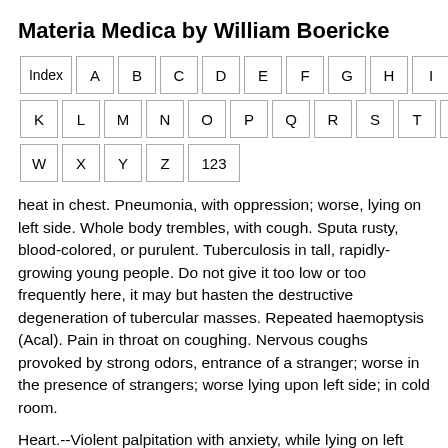Materia Medica by William Boericke
Index A B C D E F G H I J K L M N O P Q R S T U V W X Y Z 123
heat in chest. Pneumonia, with oppression; worse, lying on left side. Whole body trembles, with cough. Sputa rusty, blood-colored, or purulent. Tuberculosis in tall, rapidly-growing young people. Do not give it too low or too frequently here, it may but hasten the destructive degeneration of tubercular masses. Repeated haemoptysis (Acal). Pain in throat on coughing. Nervous coughs provoked by strong odors, entrance of a stranger; worse in the presence of strangers; worse lying upon left side; in cold room.
Heart.--Violent palpitation with anxiety, while lying on left side. Pulse rapid, small, and soft. Heart dilated, especially